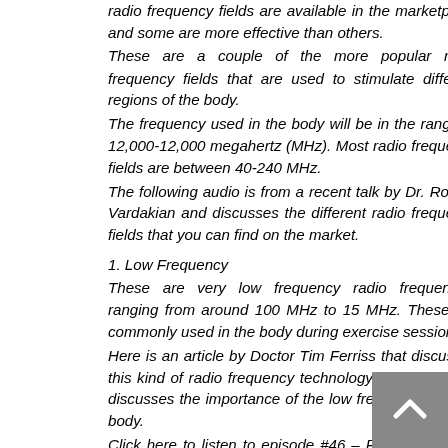radio frequency fields are available in the marketplace and some are more effective than others.
These are a couple of the more popular radio frequency fields that are used to stimulate different regions of the body.
The frequency used in the body will be in the range 1-12,000-12,000 megahertz (MHz). Most radio frequency fields are between 40-240 MHz.
The following audio is from a recent talk by Dr. Roland Vardakian and discusses the different radio frequency fields that you can find on the market.
1. Low Frequency
These are very low frequency radio frequencies ranging from around 100 MHz to 15 MHz. These are commonly used in the body during exercise sessions.
Here is an article by Doctor Tim Ferriss that discusses this kind of radio frequency technology a bit more. He discusses the importance of the low frequencies in the body.
Click here to listen to episode #46 – Radiosound and Dr. Tim Ferriss talks to us about Low Frequency.
2. Medium Frequency
These are frequencies above 200 MHz of higher